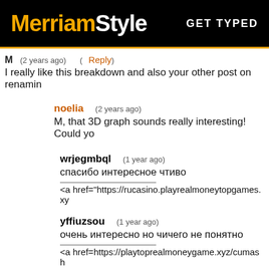MerriamStyle  GET TYPED
M    (2 years ago)    (Reply)
I really like this breakdown and also your other post on renamin
noelia    (2 years ago)
M, that 3D graph sounds really interesting! Could yo
wrjegmbql    (1 year ago)
спасибо интересное чтиво

<a href="https://rucasino.playrealmoneytopgames.xy
yffiuzsou    (1 year ago)
очень интересно но чичего не понятно

<a href=https://playtoprealmoneygame.xyz/cumash
wdfhybvljl    (1 year ago)
MerriamStyle I Interpreting the Body Types Test